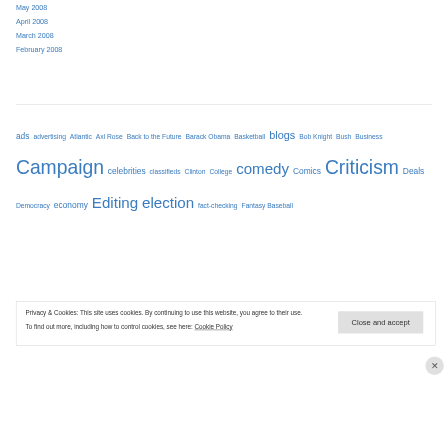May 2008
April 2008
March 2008
February 2008
ads advertising Atlantic Axl Rose Back to the Future Barack Obama Basketball blogs Bob Knight Bush Business Campaign celebrities classifieds Clinton College comedy Comics Criticism Deals Democracy economy Editing election fact-checking Fantasy Baseball
Privacy & Cookies: This site uses cookies. By continuing to use this website, you agree to their use.
To find out more, including how to control cookies, see here: Cookie Policy